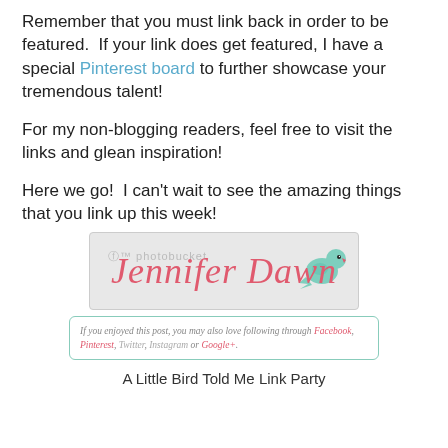Remember that you must link back in order to be featured.  If your link does get featured, I have a special Pinterest board to further showcase your tremendous talent!
For my non-blogging readers, feel free to visit the links and glean inspiration!
Here we go!  I can't wait to see the amazing things that you link up this week!
[Figure (illustration): Signature image showing 'Jennifer Dawn' in cursive pink script with a teal bird illustration, on a gray background with a photobucket watermark. Below is a follow box with links to Facebook, Pinterest, Twitter, Instagram, and Google+.]
A Little Bird Told Me Link Party